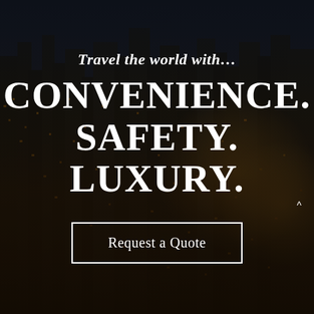[Figure (photo): Dark aerial nighttime cityscape with illuminated skyscrapers, amber and golden lights, serving as a full-bleed background image.]
Travel the world with…
CONVENIENCE. SAFETY. LUXURY.
Request a Quote